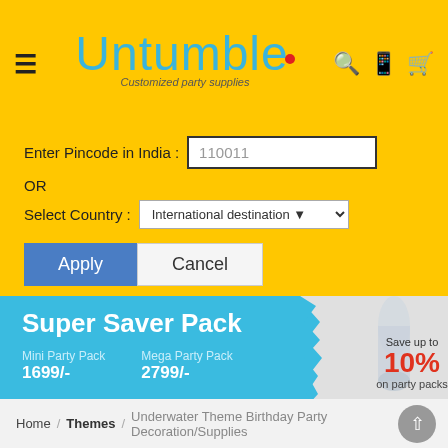Untumble — Customized party supplies
Enter Pincode in India : 110011
OR
Select Country : International destination
Apply  Cancel
[Figure (infographic): Super Saver Pack banner. Mini Party Pack 1699/-, Mega Party Pack 2799/-. Save up to 10% on party packs.]
Underwater Theme Birthday Party Decoration/Supplies
Home / Themes / Underwater Theme Birthday Party Decoration/Supplies